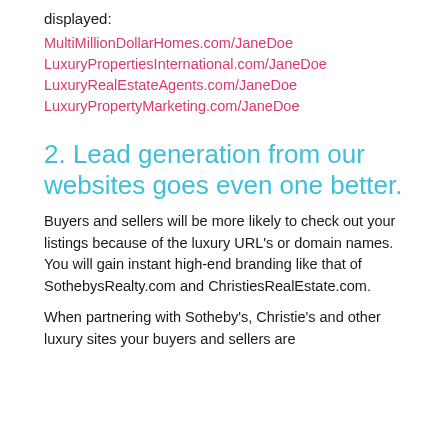displayed:
MultiMillionDollarHomes.com/JaneDoe
LuxuryPropertiesInternational.com/JaneDoe
LuxuryRealEstateAgents.com/JaneDoe
LuxuryPropertyMarketing.com/JaneDoe
2. Lead generation from our websites goes even one better.
Buyers and sellers will be more likely to check out your listings because of the luxury URL's or domain names. You will gain instant high-end branding like that of SothebysRealty.com and ChristiesRealEstate.com.
When partnering with Sotheby's, Christie's and other luxury sites your buyers and sellers are